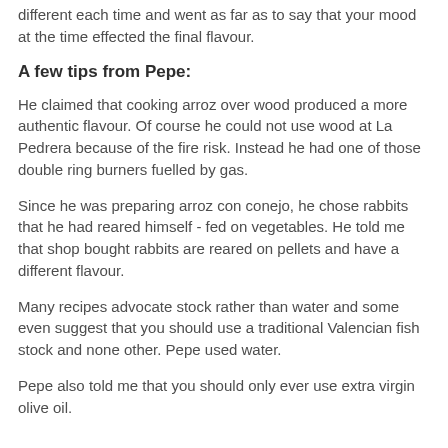different each time and went as far as to say that your mood at the time effected the final flavour.
A few tips from Pepe:
He claimed that cooking arroz over wood produced a more authentic flavour. Of course he could not use wood at La Pedrera because of the fire risk. Instead he had one of those double ring burners fuelled by gas.
Since he was preparing arroz con conejo, he chose rabbits that he had reared himself - fed on vegetables. He told me that shop bought rabbits are reared on pellets and have a different flavour.
Many recipes advocate stock rather than water and some even suggest that you should use a traditional Valencian fish stock and none other. Pepe used water.
Pepe also told me that you should only ever use extra virgin olive oil.